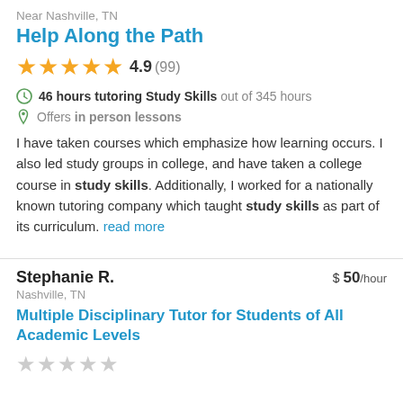Near Nashville, TN
Help Along the Path
4.9 (99)
46 hours tutoring Study Skills out of 345 hours
Offers in person lessons
I have taken courses which emphasize how learning occurs. I also led study groups in college, and have taken a college course in study skills. Additionally, I worked for a nationally known tutoring company which taught study skills as part of its curriculum. read more
Stephanie R.
$50/hour
Nashville, TN
Multiple Disciplinary Tutor for Students of All Academic Levels